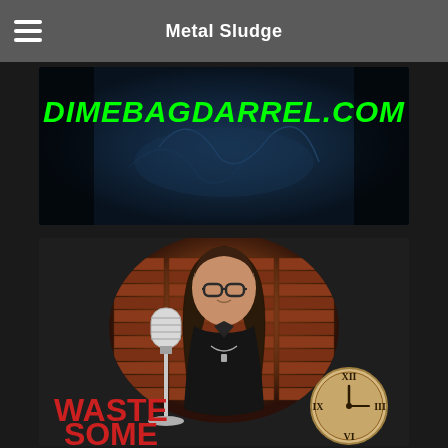Metal Sludge
[Figure (illustration): DIMEBAGDARREL.COM banner image with green bold italic text over a dark blue illustrated background with guitar/lightning imagery and dark vignette on sides]
[Figure (illustration): Podcast cover art showing an animated/illustrated figure of a man with long dark hair, glasses, black jacket, standing in front of a brick wall circular backdrop, with a vintage microphone stand in front, a clock on lower right, and red text reading WASTE SOME at bottom left]